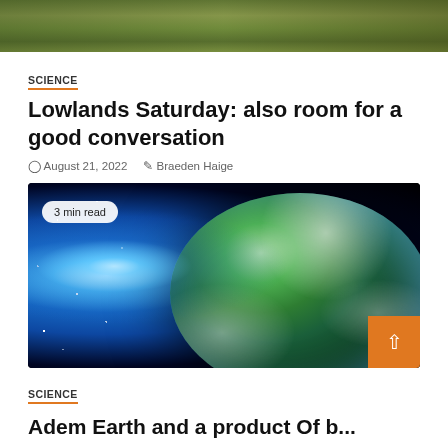[Figure (photo): Top cropped photo showing grass and outdoor scene]
SCIENCE
Lowlands Saturday: also room for a good conversation
August 21, 2022    Braeden Haige
[Figure (photo): Earth from space with glowing atmosphere and sunlight, badge reading 3 min read]
SCIENCE
Adem Earth and a product Of b...